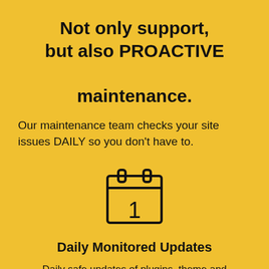Not only support, but also PROACTIVE maintenance.
Our maintenance team checks your site issues DAILY so you don't have to.
[Figure (illustration): Calendar icon showing the number 1, outline style on yellow background]
Daily Monitored Updates
Daily safe updates of plugins, theme and